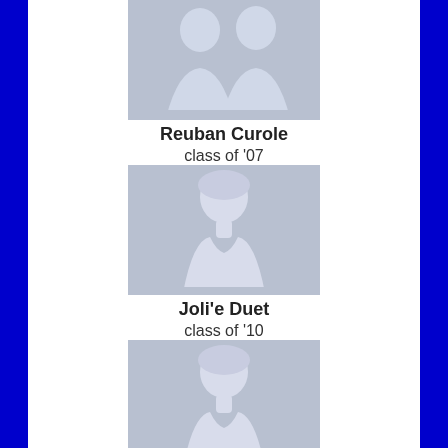[Figure (illustration): Default male silhouette avatar placeholder image for Reuban Curole]
Reuban Curole
class of '07
[Figure (illustration): Default female silhouette avatar placeholder image for Joli'e Duet]
Joli'e Duet
class of '10
[Figure (illustration): Default female silhouette avatar placeholder image for Katherine Williams]
Katherine Williams
class of '05
[Figure (illustration): Default male silhouette avatar placeholder image, partially visible at bottom]